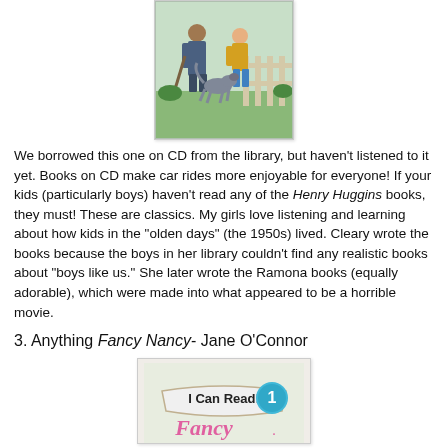[Figure (illustration): Book cover illustration showing two children and a dog near a fence, painted in classic mid-century style]
We borrowed this one on CD from the library, but haven't listened to it yet. Books on CD make car rides more enjoyable for everyone! If your kids (particularly boys) haven't read any of the Henry Huggins books, they must! These are classics. My girls love listening and learning about how kids in the "olden days" (the 1950s) lived. Cleary wrote the books because the boys in her library couldn't find any realistic books about "boys like us." She later wrote the Ramona books (equally adorable), which were made into what appeared to be a horrible movie.
3. Anything Fancy Nancy- Jane O'Connor
[Figure (illustration): Book cover for Fancy Nancy I Can Read level 1 series by Jane O'Connor, showing 'I Can Read!' badge with number 1 and 'Fancy' text in pink at bottom]